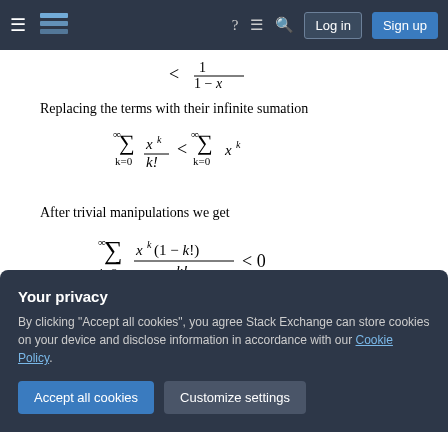Stack Exchange navigation bar with hamburger menu, logo, help, chat, search icons, Log in and Sign up buttons
Replacing the terms with their infinite sumation
After trivial manipulations we get
The inequality is trivially proved
Your privacy
By clicking "Accept all cookies", you agree Stack Exchange can store cookies on your device and disclose information in accordance with our Cookie Policy.
Accept all cookies
Customize settings